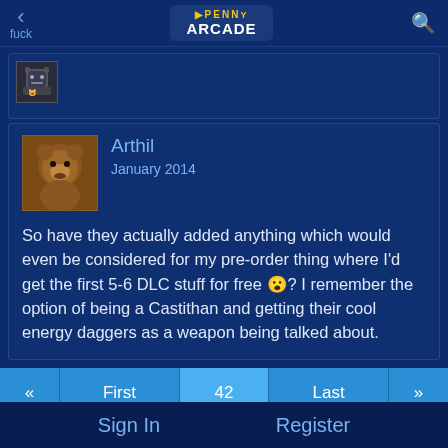< fuck | PENNY ARCADE | search
[Figure (photo): Small pixel avatar of a cat-like character]
Arthil
January 2014
So have they actually added anything which would even be considered for my pre-order thing where I'd get the first 5-6 DLC stuff for free 😮? I remember the option of being a Castithan and getting their cool energy daggers as a weapon being talked about.
« First | 42 | Last | »
Search discussion | Go
Sign In or Register to comment.
Sign In    Register